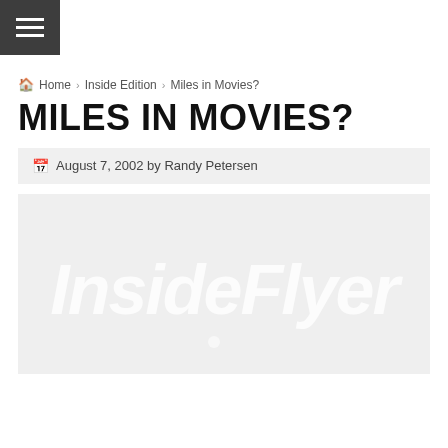[Figure (logo): Hamburger menu icon button with three white horizontal lines on dark gray square background]
🏠 Home › Inside Edition › Miles in Movies?
MILES IN MOVIES?
📅 August 7, 2002 by Randy Petersen
[Figure (logo): InsideFlyer watermark logo in light gray on slightly darker gray background]